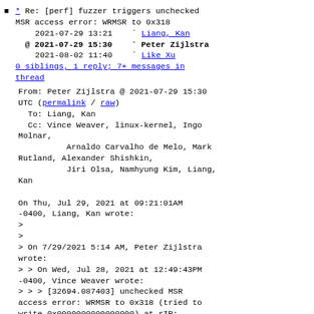* Re: [perf] fuzzer triggers unchecked MSR access error: WRMSR to 0x318
    2021-07-29 13:21    ` Liang, Kan
  @ 2021-07-29 15:30    ` Peter Zijlstra
    2021-08-02 11:40    ` Like Xu
    0 siblings, 1 reply; 7+ messages in thread
From: Peter Zijlstra @ 2021-07-29 15:30 UTC (permalink / raw)
    To: Liang, Kan
    Cc: Vince Weaver, linux-kernel, Ingo Molnar,
            Arnaldo Carvalho de Melo, Mark Rutland, Alexander Shishkin,
            Jiri Olsa, Namhyung Kim, Liang, Kan

On Thu, Jul 29, 2021 at 09:21:01AM -0400, Liang, Kan wrote:
>
>
> On 7/29/2021 5:14 AM, Peter Zijlstra wrote:
> > On Wed, Jul 28, 2021 at 12:49:43PM -0400, Vince Weaver wrote:
> > > [32694.087403] unchecked MSR access error: WRMSR to 0x318 (tried to write 0x0000000000000000) at rIP: 0xffffffff8106f854 (native_write_msr+0x4/0x20)